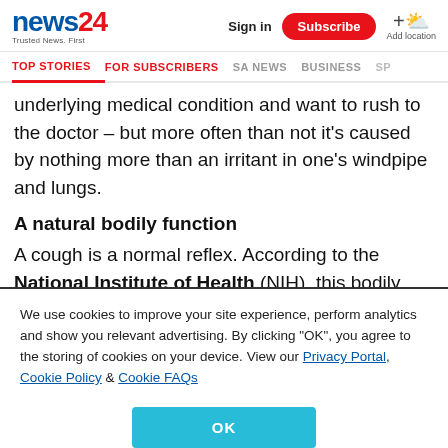news24 Trusted News. First | Sign in | Subscribe | Add location
TOP STORIES | FOR SUBSCRIBERS | SA NEWS | BUSINESS | SP
underlying medical condition and want to rush to the doctor – but more often than not it's caused by nothing more than an irritant in one's windpipe and lungs.
A natural bodily function
A cough is a normal reflex. According to the National Institute of Health (NIH), this bodily function helps clear
We use cookies to improve your site experience, perform analytics and show you relevant advertising. By clicking "OK", you agree to the storing of cookies on your device. View our Privacy Portal, Cookie Policy & Cookie FAQs
OK